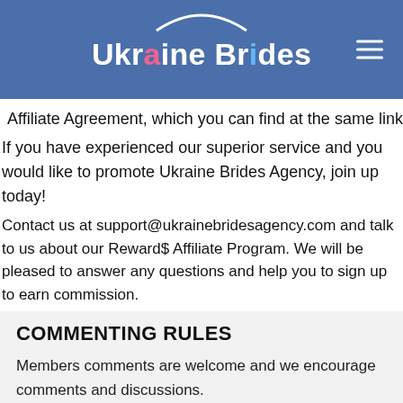Ukraine Brides
Affiliate Agreement, which you can find at the same link
If you have experienced our superior service and you would like to promote Ukraine Brides Agency, join up today!
Contact us at support@ukrainebridesagency.com and talk to us about our Reward$ Affiliate Program. We will be pleased to answer any questions and help you to sign up to earn commission.
COMMENTING RULES
Members comments are welcome and we encourage comments and discussions.
We ask that you put some thought in to your posts an...